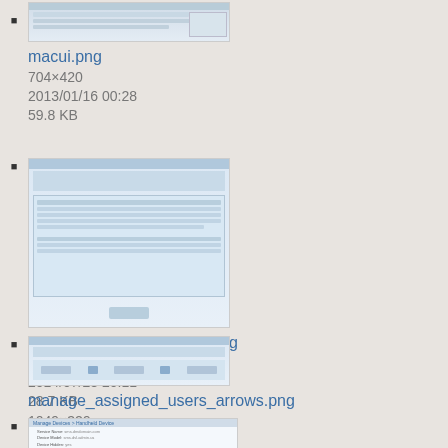macui.png
704×420
2013/01/16 00:28
59.8 KB
manage_assigned_users.png
995×835
2014/07/28 20:11
28.7 KB
manage_assigned_users_arrows.png
1049×329
2014/07/31 17:33
11.6 KB
(partial thumbnail visible)